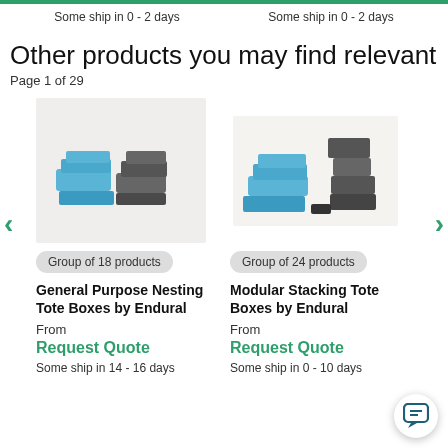Some ship in 0 - 2 days    Some ship in 0 - 2 days
Other products you may find relevant
Page 1 of 29
[Figure (photo): Blue and grey general purpose nesting tote boxes stacked]
Group of 18 products
General Purpose Nesting Tote Boxes by Endural
From
Request Quote
Some ship in 14 - 16 days
[Figure (photo): Blue and grey modular stacking tote boxes]
Group of 24 products
Modular Stacking Tote Boxes by Endural
From
Request Quote
Some ship in 0 - 10 days